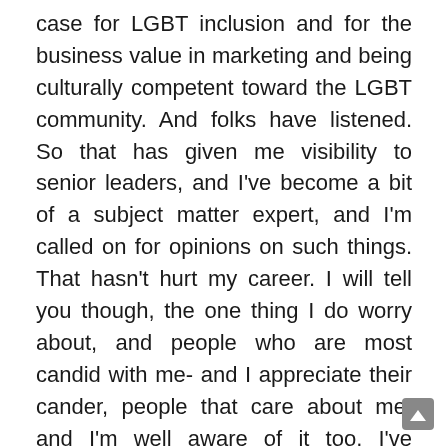case for LGBT inclusion and for the business value in marketing and being culturally competent toward the LGBT community. And folks have listened. So that has given me visibility to senior leaders, and I've become a bit of a subject matter expert, and I'm called on for opinions on such things. That hasn't hurt my career. I will tell you though, the one thing I do worry about, and people who are most candid with me- and I appreciate their cander, people that care about me, and I'm well aware of it too. I've brought up the fact that don't want to pigeonhole yourself as the person who is only doing LGBT-related things. And I think that's with anything you're doing, but I think because LGBT is so- it's not that it's flashy, but it just calls itself out as opposed to whether if I